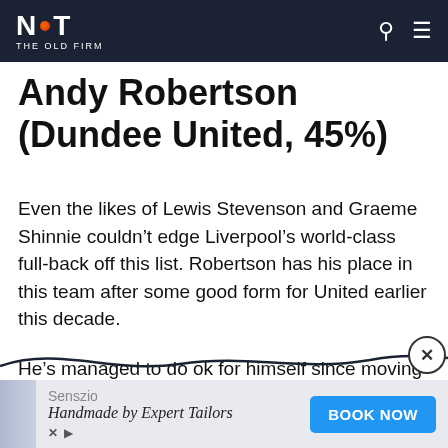NOT THE OLD FIRM
Andy Robertson (Dundee United, 45%)
Even the likes of Lewis Stevenson and Graeme Shinnie couldn't edge Liverpool's world-class full-back off this list. Robertson has his place in this team after some good form for United earlier this decade.
He's managed to do ok for himself since moving south.